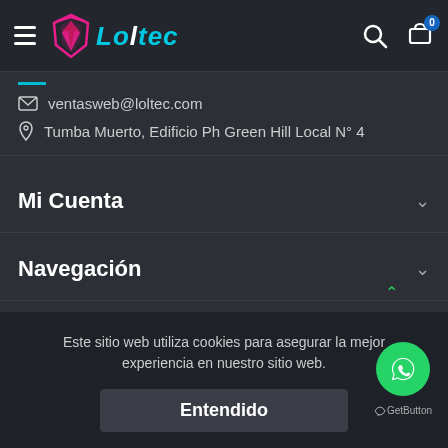LOLTEC website header with hamburger menu, logo, search and cart icons
ventasweb@loltec.com
Tumba Muerto, Edificio Ph Green Hill Local N° 4
Mi Cuenta
Navegación
Este sitio web utiliza cookies para asegurar la mejor experiencia en nuestro sitio web.
Entendido